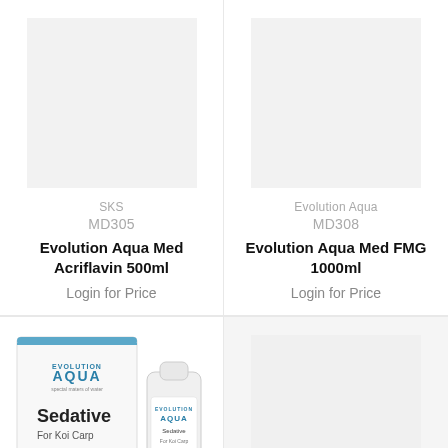[Figure (photo): Product image placeholder for Evolution Aqua Med Acriflavin 500ml]
SKS
MD305
Evolution Aqua Med Acriflavin 500ml
Login for Price
[Figure (photo): Product image placeholder for Evolution Aqua Med FMG 1000ml]
Evolution Aqua
MD308
Evolution Aqua Med FMG 1000ml
Login for Price
[Figure (photo): Evolution Aqua Sedative For Koi Carp product box and bottle]
[Figure (photo): Product image placeholder (bottom right)]
This website uses cookies to ensure you get the best